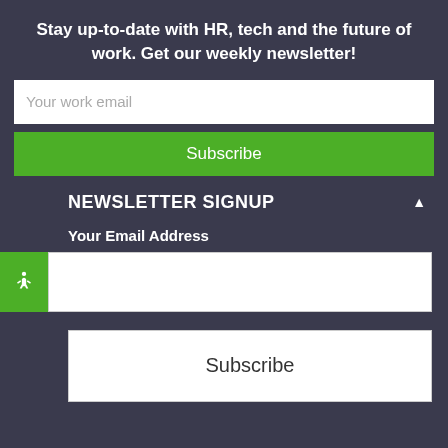Stay up-to-date with HR, tech and the future of work. Get our weekly newsletter!
[Figure (screenshot): Email input field with placeholder text 'Your work email']
[Figure (screenshot): Green Subscribe button]
NEWSLETTER SIGNUP
Your Email Address
[Figure (screenshot): Email input field with accessibility icon on left]
[Figure (screenshot): White Subscribe button]